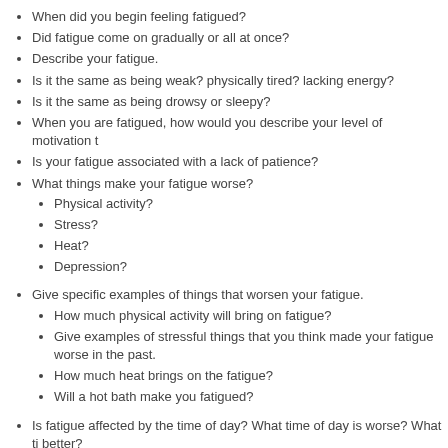When did you begin feeling fatigued?
Did fatigue come on gradually or all at once?
Describe your fatigue.
Is it the same as being weak? physically tired? lacking energy?
Is it the same as being drowsy or sleepy?
When you are fatigued, how would you describe your level of motivation t
Is your fatigue associated with a lack of patience?
What things make your fatigue worse?
Physical activity?
Stress?
Heat?
Depression?
Give specific examples of things that worsen your fatigue.
How much physical activity will bring on fatigue?
Give examples of stressful things that you think made your fatigue worse in the past.
How much heat brings on the fatigue?
Will a hot bath make you fatigued?
Is fatigue affected by the time of day? What time of day is worse? What ti better?
What things make your fatigue better?
Rest?
Sleep?
Positive experiences?